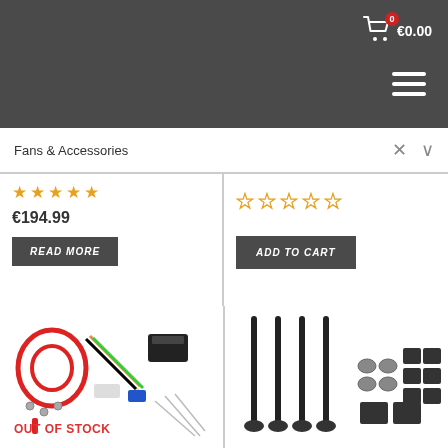€0.00
Fans & Accessories
[Figure (screenshot): Star rating widget showing empty orange stars (0 of 5) on the right card]
€194.99
[Figure (screenshot): READ MORE button (dark grey, bold italic)]
[Figure (screenshot): ADD TO CART button (dark grey, bold italic)]
[Figure (photo): Wiring harness kit with red cable, multicolor wires, relay, connectors, zip ties, and other electrical accessories. OUT OF STOCK label in red.]
[Figure (photo): Fan mounting hardware kit: four long black mounting pins/standoffs, rubber grommets, and adhesive rubber pads.]